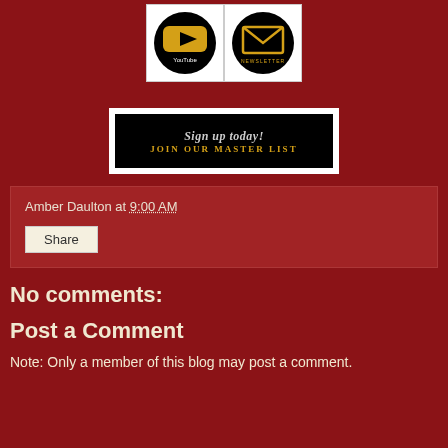[Figure (logo): YouTube icon - black circle with YouTube logo text in gold on white background box]
[Figure (logo): Newsletter icon - black circle with envelope/mail icon in gold on white background box]
[Figure (other): Sign up today! Join Our Master List - black banner with script and caps text]
Amber Daulton at 9:00 AM
Share
No comments:
Post a Comment
Note: Only a member of this blog may post a comment.